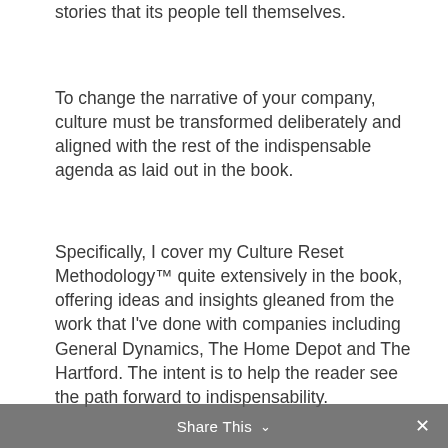stories that its people tell themselves.
To change the narrative of your company, culture must be transformed deliberately and aligned with the rest of the indispensable agenda as laid out in the book.
Specifically, I cover my Culture Reset Methodology™ quite extensively in the book, offering ideas and insights gleaned from the work that I've done with companies including General Dynamics, The Home Depot and The Hartford. The intent is to help the reader see the path forward to indispensability.
Share This ∨